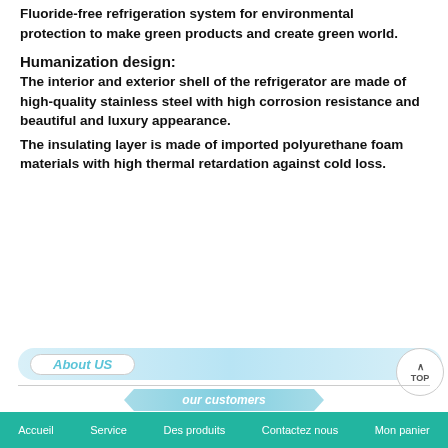Fluoride-free refrigeration system for environmental protection to make green products and create green world.
Humanization design:
The interior and exterior shell of the refrigerator are made of high-quality stainless steel with high corrosion resistance and beautiful and luxury appearance.
The insulating layer is made of imported polyurethane foam materials with high thermal retardation against cold loss.
[Figure (infographic): About US banner with light blue gradient background and white oval tab on left reading 'About US' in teal italic text]
[Figure (infographic): our customers banner as a light blue chevron/parallelogram shape with italic white text]
[Figure (infographic): TOP button circular with up arrow and TOP text]
[Figure (infographic): Three triangular logo images at bottom strip]
Accueil   Service   Des produits   Contactez nous   Mon panier